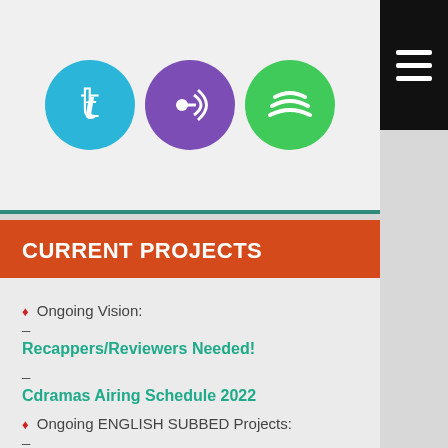[Figure (illustration): Social media icons: Twitter (blue circle), podcast/relay icon (purple circle), Spotify (green circle), with hamburger menu icon in top right black box]
CURRENT PROJECTS
◆ Ongoing Vision:
–
Recappers/Reviewers Needed!
–
Cdramas Airing Schedule 2022
◆ Ongoing ENGLISH SUBBED Projects:
–
Let's Shake It 2
–
Chef Hua